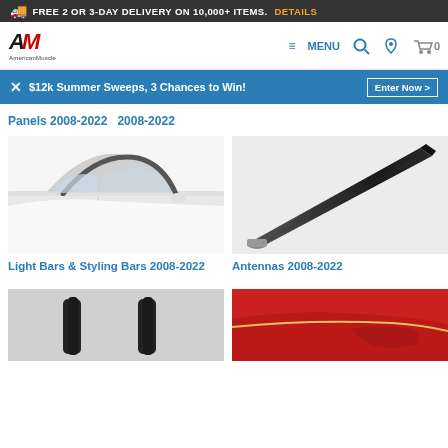FREE 2 OR 3-DAY DELIVERY ON 10,000+ ITEMS. DETAILS
[Figure (screenshot): AmericanMuscle logo with navigation bar including MENU, search, phone, and cart icons]
$12k Summer Sweeps, 3 Chances to Win! Enter Now >
Panels 2008-2022
2008-2022
[Figure (photo): Light Bars & Styling Bars product - white convertible car with styling bar visible]
[Figure (photo): Antennas 2008-2022 - black cylindrical antenna on grey background]
Light Bars & Styling Bars 2008-2022
Antennas 2008-2022
[Figure (photo): Bottom partial product image - black fender accessories on light background]
[Figure (photo): Bottom partial product image - red car exterior trim piece]